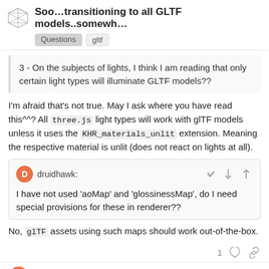Soo…transitioning to all GLTF models..somewh… Questions gltf
3 - On the subjects of lights, I think I am reading that only certain light types will illuminate GLTF models??
I'm afraid that's not true. May I ask where you have read this^^? All three.js light types will work with glTF models unless it uses the KHR_materials_unlit extension. Meaning the respective material is unlit (does not react on lights at all).
druidhawk: I have not used 'aoMap' and 'glossinessMap', do I need special provisions for these in renderer??
No, glTF assets using such maps should work out-of-the-box.
1 [heart] [link] druidhawk 2 / 8